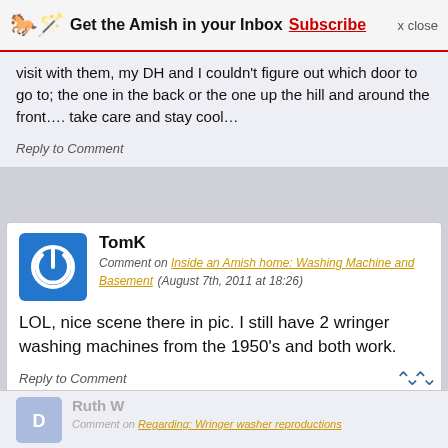Get the Amish in your Inbox Subscribe x close
visit with them, my DH and I couldn't figure out which door to go to; the one in the back or the one up the hill and around the front…. take care and stay cool…
Reply to Comment
TomK
Comment on Inside an Amish home: Washing Machine and Basement (August 7th, 2011 at 18:26)
LOL, nice scene there in pic. I still have 2 wringer washing machines from the 1950's and both work.
Reply to Comment
Ruth W
Comment on Regarding: Wringer washer reproductions